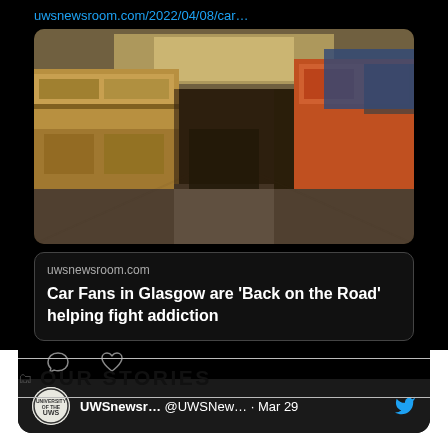[Figure (screenshot): Twitter/social media post screenshot showing a tweet from UWSnewsr... @UWSNew... · Mar 29 with a link uwsnewsroom.com/2022/04/08/car... and an embedded preview card for 'Car Fans in Glasgow are 'Back on the Road' helping fight addiction' from uwsnewsroom.com, with a photo of a bus depot interior, and social action icons (comment, like).]
OUR STORIES